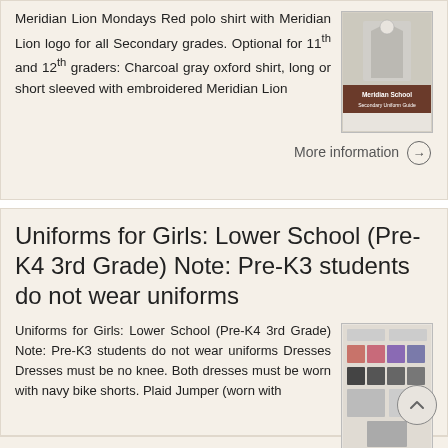Meridian Lion Mondays Red polo shirt with Meridian Lion logo for all Secondary grades. Optional for 11th and 12th graders: Charcoal gray oxford shirt, long or short sleeved with embroidered Meridian Lion
[Figure (illustration): Meridian School Secondary Uniform Guide thumbnail image]
More information →
Uniforms for Girls: Lower School (Pre-K4 3rd Grade) Note: Pre-K3 students do not wear uniforms
Uniforms for Girls: Lower School (Pre-K4 3rd Grade) Note: Pre-K3 students do not wear uniforms Dresses Dresses must be no knee. Both dresses must be worn with navy bike shorts. Plaid Jumper (worn with
[Figure (illustration): Uniforms for Girls Lower School guide thumbnail image]
More information →